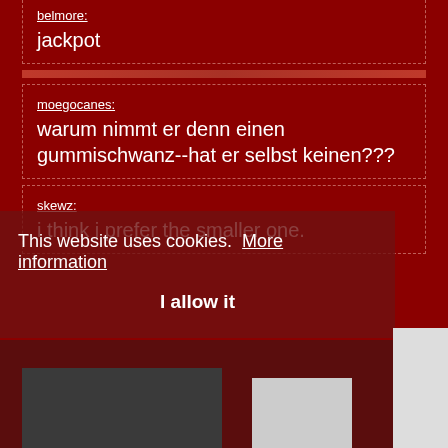belmore: jackpot
moegocanes: warum nimmt er denn einen gummischwanz--hat er selbst keinen???
skewz: i think i prefer the smaller one.
This website uses cookies. More information
I allow it